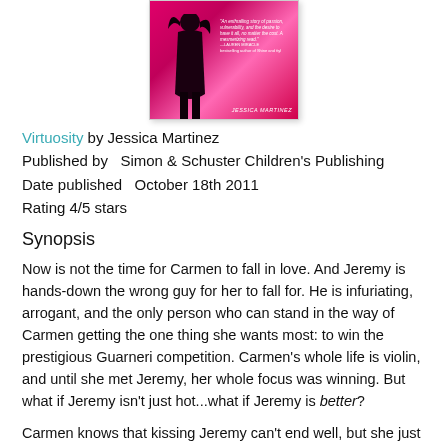[Figure (illustration): Book cover of Virtuosity by Jessica Martinez — pink/magenta background with a silhouette figure and a blurb from Lauren Miracle.]
Virtuosity by Jessica Martinez
Published by  Simon & Schuster Children's Publishing
Date published  October 18th 2011
Rating 4/5 stars
Synopsis
Now is not the time for Carmen to fall in love. And Jeremy is hands-down the wrong guy for her to fall for. He is infuriating, arrogant, and the only person who can stand in the way of Carmen getting the one thing she wants most: to win the prestigious Guarneri competition. Carmen's whole life is violin, and until she met Jeremy, her whole focus was winning. But what if Jeremy isn't just hot...what if Jeremy is better?
Carmen knows that kissing Jeremy can't end well, but she just can't stay